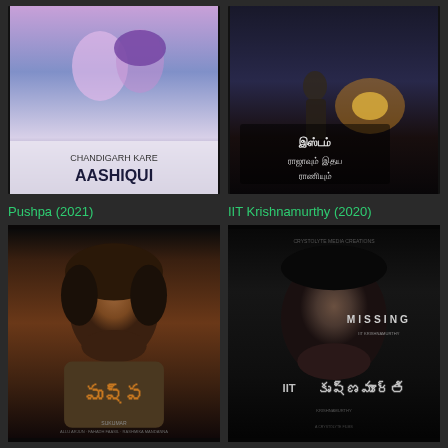[Figure (photo): Movie poster for Chandigarh Kare Aashiqui - romantic Bollywood film with a couple embracing, purple/blue tones, text 'CHANDIGARH KARE AASHIQUI' at bottom]
[Figure (photo): Movie poster for Tamil film with motorcycle scene at night, text in Tamil script and title in stylized font on dark background]
Pushpa (2021)
IIT Krishnamurthy (2020)
[Figure (photo): Movie poster for Pushpa (2021) - Telugu action film, man with beard and disheveled hair in dark moody lighting, Telugu script title 'Pushpa' at bottom]
[Figure (photo): Movie poster for IIT Krishnamurthy (2020) - man with beard looking forward, dark moody monochrome, text 'MISSING' and 'IIT' with Telugu script for Krishnamurthy]